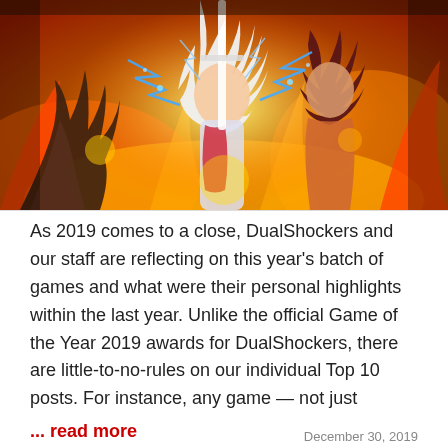[Figure (illustration): Anime-style illustration showing two characters fighting with fire and lightning effects — one character with white/silver hair and another with dark hair, both wielding weapons surrounded by orange flames and blue electric sparks on a fiery background]
As 2019 comes to a close, DualShockers and our staff are reflecting on this year's batch of games and what were their personal highlights within the last year. Unlike the official Game of the Year 2019 awards for DualShockers, there are little-to-no-rules on our individual Top 10 posts. For instance, any game — not just
... read more
December 30, 2019